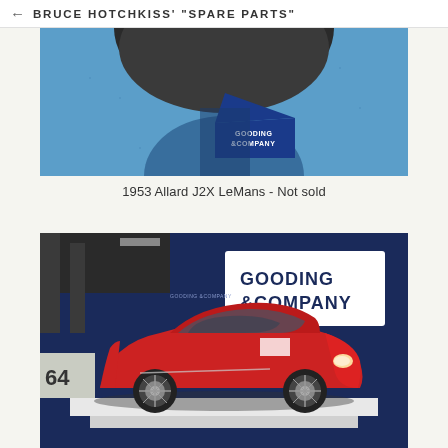BRUCE HOTCHKISS' "SPARE PARTS"
[Figure (photo): Close-up photo of a blue carpeted floor with a blue triangular Gooding & Company auction sign, and the base of a large circular object. Auction environment.]
1953 Allard J2X LeMans - Not sold
[Figure (photo): Photo of a red classic sports car (1963 Alfa Romeo Giulia Sprint Speciale) displayed on a white platform at a Gooding & Company auction venue. Blue Gooding & Company signage in background, number 64 race car partially visible on left.]